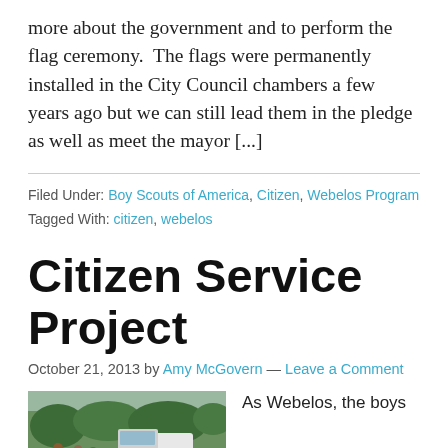more about the government and to perform the flag ceremony.  The flags were permanently installed in the City Council chambers a few years ago but we can still lead them in the pledge as well as meet the mayor [...]
Filed Under: Boy Scouts of America, Citizen, Webelos Program
Tagged With: citizen, webelos
Citizen Service Project
October 21, 2013 by Amy McGovern — Leave a Comment
[Figure (photo): Outdoor photo showing people and a white truck in a parking lot area with trees in the background.]
As Webelos, the boys